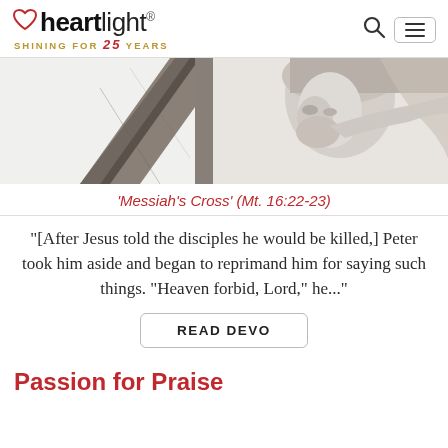heartlight® SHINING FOR 25 YEARS
[Figure (photo): Close-up photo of a stone or sculpted crucifix showing the face of Jesus Christ with crown of thorns, and the cross beam, in white/grey tones on a pale background]
'Messiah's Cross' (Mt. 16:22-23)
"[After Jesus told the disciples he would be killed,] Peter took him aside and began to reprimand him for saying such things. "Heaven forbid, Lord," he..."
READ DEVO
Passion for Praise